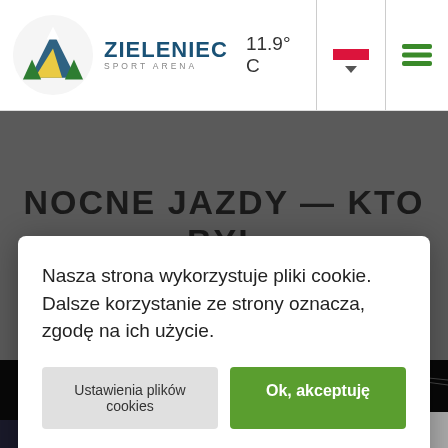Zieleniec Sport Arena — 11.9° C
[Figure (screenshot): Dark nighttime ski slope background with illuminated ski lifts and snow-covered trees]
NOCNE JAZDY — KTO BYŁ
Nasza strona wykorzystuje pliki cookie. Dalsze korzystanie ze strony oznacza, zgodę na ich użycie.
Ustawienia plików cookies
Ok, akceptuję
Polityka prywatności RODO